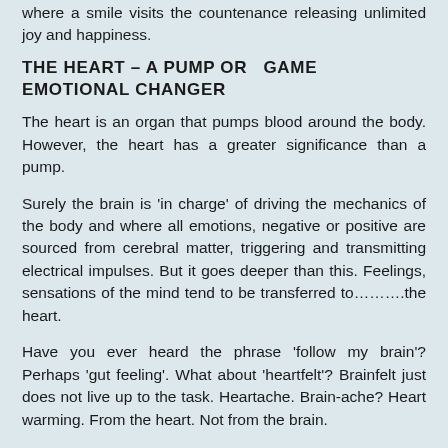where a smile visits the countenance releasing unlimited joy and happiness.
THE HEART – A PUMP OR  GAME EMOTIONAL CHANGER
The heart is an organ that pumps blood around the body. However, the heart has a greater significance than a pump.
Surely the brain is 'in charge' of driving the mechanics of the body and where all emotions, negative or positive are sourced from cerebral matter, triggering and transmitting electrical impulses. But it goes deeper than this. Feelings, sensations of the mind tend to be transferred to……….the heart.
Have you ever heard the phrase 'follow my brain'? Perhaps 'gut feeling'. What about 'heartfelt'? Brainfelt just does not live up to the task. Heartache. Brain-ache? Heart warming. From the heart. Not from the brain.